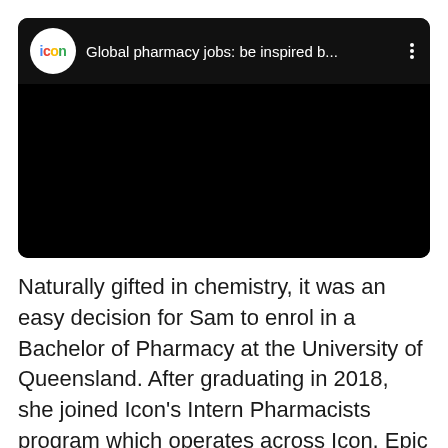[Figure (screenshot): Embedded video player with dark background showing Icon logo and title 'Global pharmacy jobs: be inspired b...' with a three-dot menu icon]
Naturally gifted in chemistry, it was an easy decision for Sam to enrol in a Bachelor of Pharmacy at the University of Queensland. After graduating in 2018, she joined Icon's Intern Pharmacists program which operates across Icon, Epic and Slade pharmacies. Looking back on her time as an intern, Sam says it was